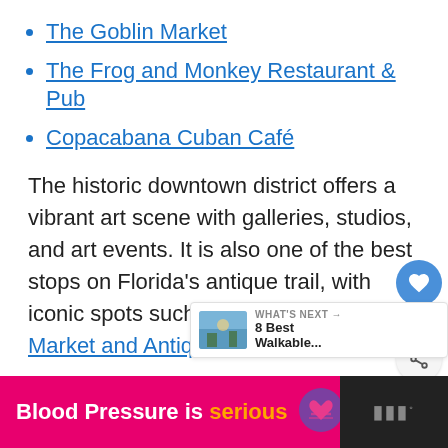The Goblin Market
The Frog and Monkey Restaurant & Pub
Copacabana Cuban Café
The historic downtown district offers a vibrant art scene with galleries, studios, and art events. It is also one of the best stops on Florida's antique trail, with iconic spots such as Renninger's Flea Market and Antique Center.
[Figure (infographic): Social sidebar with heart/like button showing count of 2, and a share button]
[Figure (infographic): What's Next panel with thumbnail image and text: 8 Best Walkable...]
[Figure (infographic): Ad banner at bottom: Blood Pressure is serious with heart logo, on pink/black background]